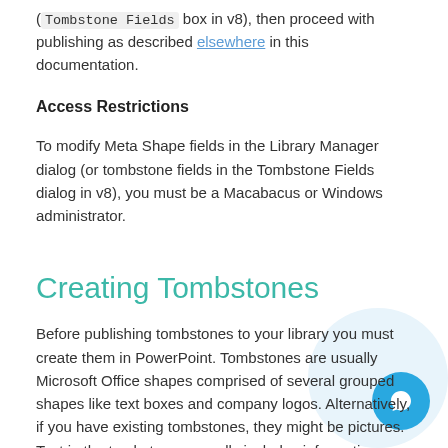( Tombstone Fields  box in v8), then proceed with publishing as described elsewhere in this documentation.
Access Restrictions
To modify Meta Shape fields in the Library Manager dialog (or tombstone fields in the Tombstone Fields dialog in v8), you must be a Macabacus or Windows administrator.
Creating Tombstones
Before publishing tombstones to your library you must create them in PowerPoint. Tombstones are usually Microsoft Office shapes comprised of several grouped shapes like text boxes and company logos. Alternatively, if you have existing tombstones, they might be pictures. Text in the tombstone normally includes information such as the transaction date, deal size, and your firm's advisory role. All of your tombstones should have the exact same height a… to avoid slide layout issues.
In addition to creating tombstones, you really sizing…